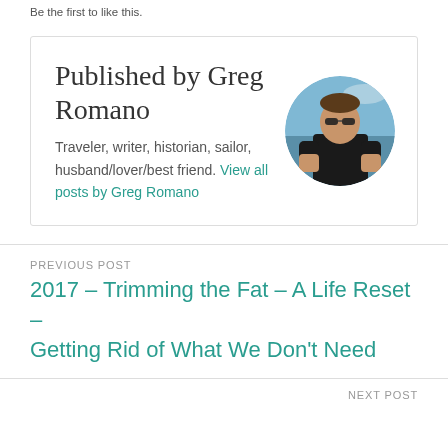Be the first to like this.
Published by Greg Romano
Traveler, writer, historian, sailor, husband/lover/best friend. View all posts by Greg Romano
[Figure (photo): Circular avatar photo of Greg Romano, a man wearing sunglasses and a black shirt, outdoors with water/sky in background]
PREVIOUS POST
2017 – Trimming the Fat – A Life Reset – Getting Rid of What We Don't Need
NEXT POST